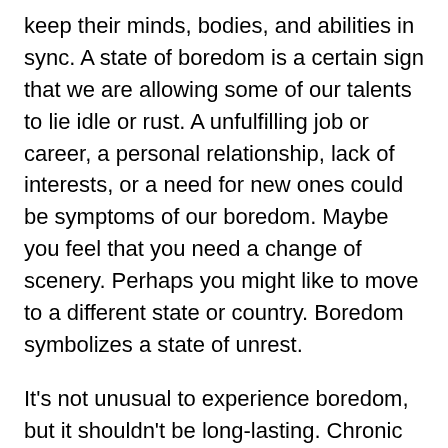keep their minds, bodies, and abilities in sync. A state of boredom is a certain sign that we are allowing some of our talents to lie idle or rust. A unfulfilling job or career, a personal relationship, lack of interests, or a need for new ones could be symptoms of our boredom. Maybe you feel that you need a change of scenery. Perhaps you might like to move to a different state or country. Boredom symbolizes a state of unrest.
It's not unusual to experience boredom, but it shouldn't be long-lasting. Chronic boredom can have many serious consequences. It often leads to heightened feelings of loneliness, helplessness, and even depression. In its most destructive form, boredom can lead to drug abuse, gambling addiction, sexual promiscuity, alcoholism, and excessive spending habits. When people, especially